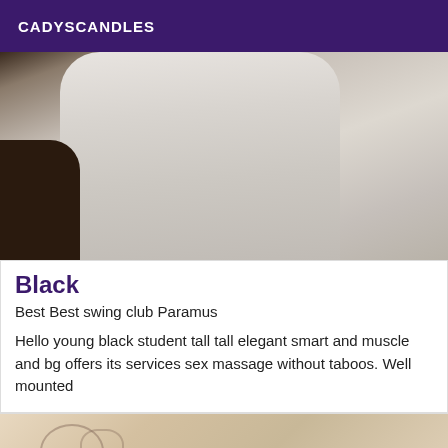CADYSCANDLES
[Figure (photo): A person wearing a white/light gray garment or towel, cropped photo showing torso area]
Black
Best Best swing club Paramus
Hello young black student tall tall elegant smart and muscle and bg offers its services sex massage without taboos. Well mounted
[Figure (photo): Partial view of a person with tattoos visible, bottom of the page]